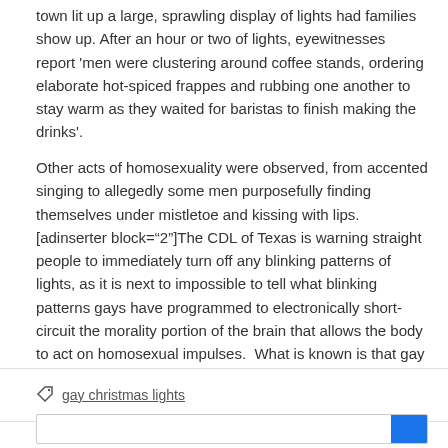town lit up a large, sprawling display of lights had families show up. After an hour or two of lights, eyewitnesses report 'men were clustering around coffee stands, ordering elaborate hot-spiced frappes and rubbing one another to stay warm as they waited for baristas to finish making the drinks'.
Other acts of homosexuality were observed, from accented singing to allegedly some men purposefully finding themselves under mistletoe and kissing with lips. [adinserter block="2"]The CDL of Texas is warning straight people to immediately turn off any blinking patterns of lights, as it is next to impossible to tell what blinking patterns gays have programmed to electronically short-circuit the morality portion of the brain that allows the body to act on homosexual impulses.  What is known is that gay scientists have worked for years to use chemicals and light patterns to alter the brain chemistry so that more people could become gay.
gay christmas lights